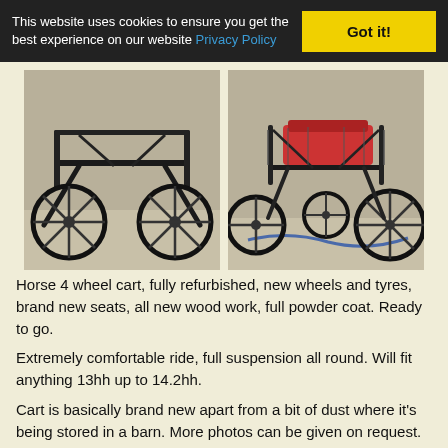This website uses cookies to ensure you get the best experience on our website Privacy Policy  Got it!
[Figure (photo): Two photos of a horse 4-wheel cart, black metal frame with spoked wheels, shown on gravel ground. Left photo shows rear view; right photo shows front/side view with red seats visible.]
Horse 4 wheel cart, fully refurbished, new wheels and tyres, brand new seats, all new wood work, full powder coat. Ready to go.
Extremely comfortable ride, full suspension all round. Will fit anything 13hh up to 14.2hh.
Cart is basically brand new apart from a bit of dust where it's being stored in a barn. More photos can be given on request.
To Fit: 13hh to 14.2hh
Price: £1,350 ono